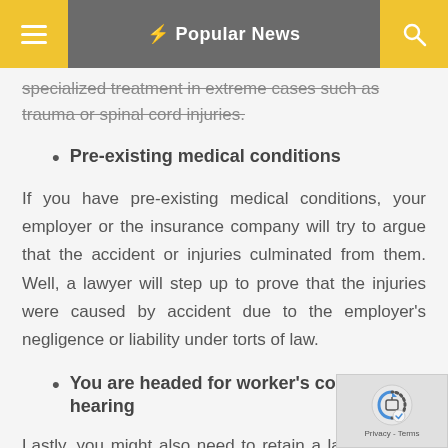☰  ⚡ Popular News  🔍
specialized treatment in extreme cases such as trauma or spinal cord injuries.
Pre-existing medical conditions
If you have pre-existing medical conditions, your employer or the insurance company will try to argue that the accident or injuries culminated from them. Well, a lawyer will step up to prove that the injuries were caused by accident due to the employer's negligence or liability under torts of law.
You are headed for worker's comp hearing
Lastly, you might also need to retain a lawyer if you are probably headed for a workers' comp hearing to